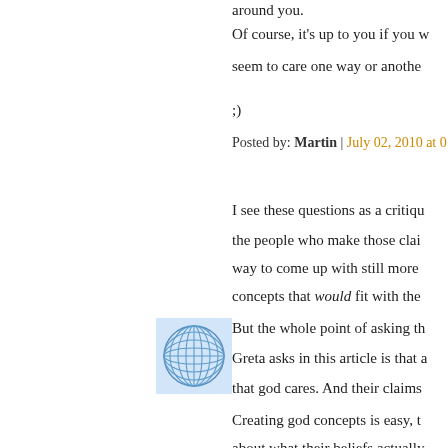around you.
Of course, it's up to you if you w...
seem to care one way or another
;)
Posted by: Martin | July 02, 2010 at 0...
[Figure (logo): Blue globe/network grid logo icon, square with light blue background]
But the whole point of asking th... Greta asks in this article is that ... that god cares. And their claims... god, that is also intensely interes... feel about him, is not consistent...
I see these questions as a critiqu... the people who make those clai... way to come up with still more... concepts that would fit with the...
Creating god concepts is easy, t... about what their beliefs actually...